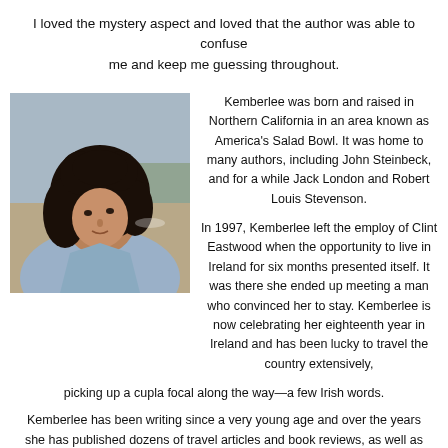I loved the mystery aspect and loved that the author was able to confuse me and keep me guessing throughout.
[Figure (photo): Portrait photo of Kemberlee, a woman with curly dark hair, wearing a light blue denim jacket, outdoors near water and a shoreline.]
Kemberlee was born and raised in Northern California in an area known as America's Salad Bowl. It was home to many authors, including John Steinbeck, and for a while Jack London and Robert Louis Stevenson.

In 1997, Kemberlee left the employ of Clint Eastwood when the opportunity to live in Ireland for six months presented itself. It was there she ended up meeting a man who convinced her to stay. Kemberlee is now celebrating her eighteenth year in Ireland and has been lucky to travel the country extensively, picking up a cupla focal along the way—a few Irish words.
Kemberlee has been writing since a very young age and over the years she has published dozens of travel articles and book reviews, as well as worked with some notable authors who've set their books in Ireland.